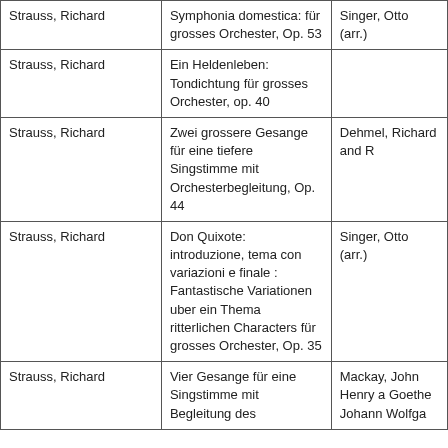| Strauss, Richard | Symphonia domestica: für grosses Orchester, Op. 53 | Singer, Otto (arr.) |
| Strauss, Richard | Ein Heldenleben: Tondichtung für grosses Orchester, op. 40 |  |
| Strauss, Richard | Zwei grossere Gesange für eine tiefere Singstimme mit Orchesterbegleitung, Op. 44 | Dehmel, Richard and R... |
| Strauss, Richard | Don Quixote: introduzione, tema con variazioni e finale : Fantastische Variationen uber ein Thema ritterlichen Characters für grosses Orchester, Op. 35 | Singer, Otto (arr.) |
| Strauss, Richard | Vier Gesange für eine Singstimme mit Begleitung des | Mackay, John Henry a... Goethe Johann Wolfga... |